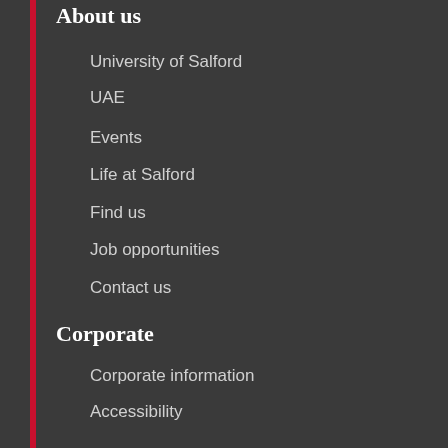About us
University of Salford
UAE
Events
Life at Salford
Find us
Job opportunities
Contact us
Corporate
Corporate information
Accessibility
Privacy and cookies policy
FOI request
Partnerships
Our campus plan
More information
Library
Our schools